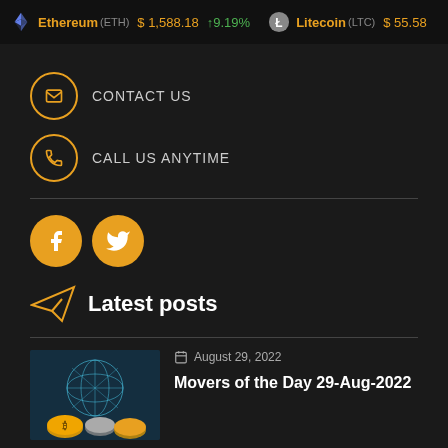Ethereum (ETH) $ 1,588.18 ↑9.19% Litecoin (LTC) $ 55.58
CONTACT US
CALL US ANYTIME
[Figure (illustration): Orange Facebook and Twitter social media icon circles]
Latest posts
[Figure (photo): Cryptocurrency themed image with geometric shape and coins]
August 29, 2022
Movers of the Day 29-Aug-2022